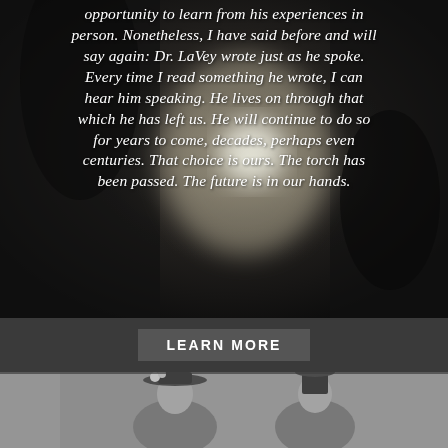[Figure (photo): Dark black and white blurry photograph with skull or figure in background, overlaid with italic white text quote about Dr. LaVey]
opportunity to learn from his experiences in person. Nonetheless, I have said before and will say again: Dr. LaVey wrote just as he spoke. Every time I read something he wrote, I can hear him speaking. He lives on through that which he has left us. He will continue to do so for years to come, decades, perhaps even centuries. That choice is ours. The torch has been passed. The future is in our hands.
LEARN MORE
[Figure (photo): Black and white vintage portrait photograph of two women wearing Victorian-era hats and clothing]